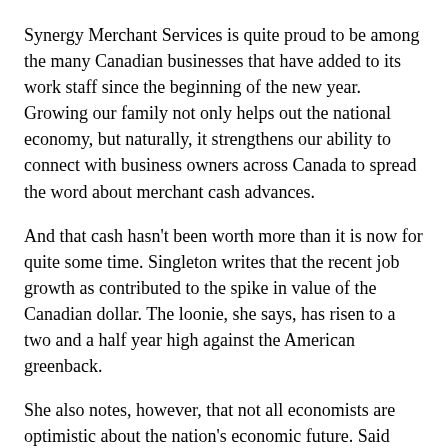Synergy Merchant Services is quite proud to be among the many Canadian businesses that have added to its work staff since the beginning of the new year. Growing our family not only helps out the national economy, but naturally, it strengthens our ability to connect with business owners across Canada to spread the word about merchant cash advances.
And that cash hasn't been worth more than it is now for quite some time. Singleton writes that the recent job growth as contributed to the spike in value of the Canadian dollar. The loonie, she says, has risen to a two and a half year high against the American greenback.
She also notes, however, that not all economists are optimistic about the nation's economic future. Said HSBC economist Stewart Hall: “A change in employment trends in this decidedly positive direction while certainly welcome is far from proven at this stage.”
In a note, Hall mentioned that the economy only created an average of 8,000 jobs a month in the last six months of 2010.